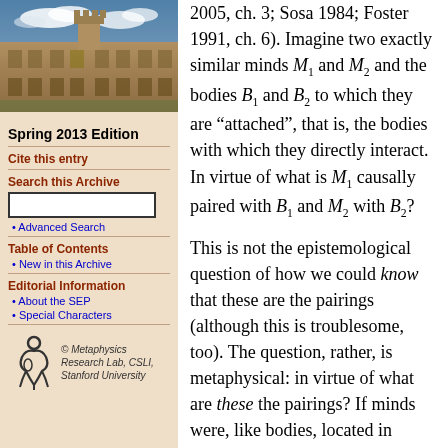[Figure (photo): Photo of a university building (likely Stanford or Oxford) with stone architecture and blue sky with clouds]
Spring 2013 Edition
Cite this entry
Search this Archive
Advanced Search
Table of Contents
New in this Archive
Editorial Information
About the SEP
Special Characters
[Figure (logo): Metaphysics Research Lab, CSLI, Stanford University logo with stylized figure]
2005, ch. 3; Sosa 1984; Foster 1991, ch. 6). Imagine two exactly similar minds M1 and M2 and the bodies B1 and B2 to which they are "attached", that is, the bodies with which they directly interact. In virtue of what is M1 causally paired with B1 and M2 with B2?
This is not the epistemological question of how we could know that these are the pairings (although this is troublesome, too). The question, rather, is metaphysical: in virtue of what are these the pairings? If minds were, like bodies, located in space, causal pairing could be achieved by the relative spatial